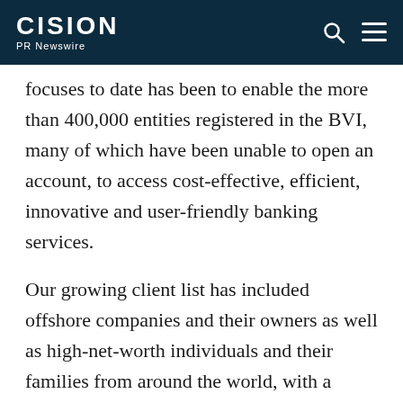CISION PR Newswire
focuses to date has been to enable the more than 400,000 entities registered in the BVI, many of which have been unable to open an account, to access cost-effective, efficient, innovative and user-friendly banking services.
Our growing client list has included offshore companies and their owners as well as high-net-worth individuals and their families from around the world, with a focus on those in Asia. By operating with a fully digital platform, this means these customers can access our